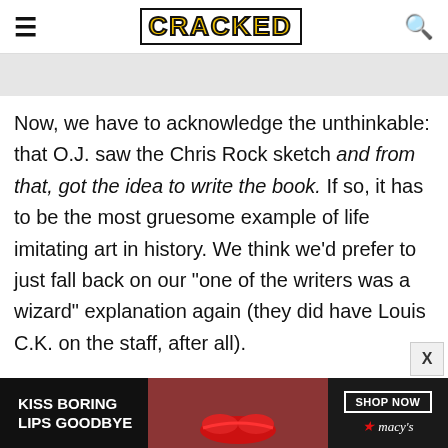CRACKED
[Figure (photo): Gray image placeholder banner]
Now, we have to acknowledge the unthinkable: that O.J. saw the Chris Rock sketch and from that, got the idea to write the book. If so, it has to be the most gruesome example of life imitating art in history. We think we'd prefer to just fall back on our "one of the writers was a wizard" explanation again (they did have Louis C.K. on the staff, after all).
Related: 15 Things Everyone Gets Wrong About the OJ Simpson Trial
[Figure (infographic): Macy's advertisement banner: KISS BORING LIPS GOODBYE with SHOP NOW button and Macy's star logo]